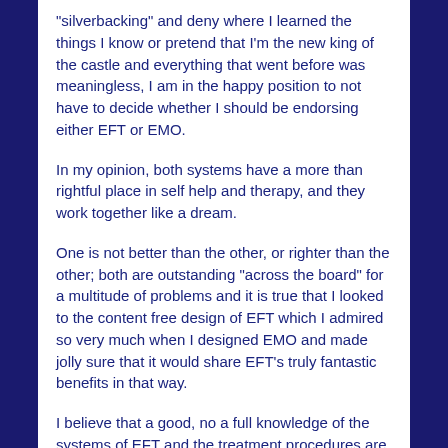"silverbacking" and deny where I learned the things I know or pretend that I'm the new king of the castle and everything that went before was meaningless, I am in the happy position to not have to decide whether I should be endorsing either EFT or EMO.
In my opinion, both systems have a more than rightful place in self help and therapy, and they work together like a dream.
One is not better than the other, or righter than the other; both are outstanding "across the board" for a multitude of problems and it is true that I looked to the content free design of EFT which I admired so very much when I designed EMO and made jolly sure that it would share EFT's truly fantastic benefits in that way.
I believe that a good, no a full knowledge of the systems of EFT and the treatment procedures are the very best grounding in the new energy therapies